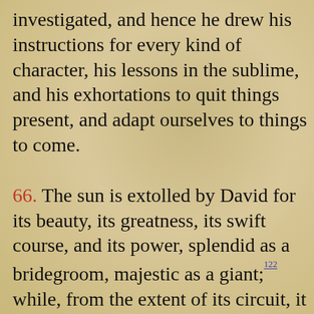investigated, and hence he drew his instructions for every kind of character, his lessons in the sublime, and his exhortations to quit things present, and adapt ourselves to things to come.
66. The sun is extolled by David for its beauty, its greatness, its swift course, and its power, splendid as a bridegroom, majestic as a giant; 122 while, from the extent of its circuit, it has such